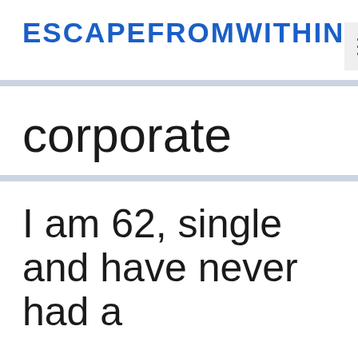ESCAPEFROMWITHIN
corporate
I am 62, single and have never had a